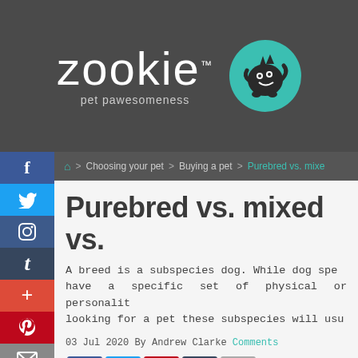[Figure (logo): Zookie pet pawesomeness logo with teal monster icon on dark background]
Home > Choosing your pet > Buying a pet > Purebred vs. mixe...
Purebred vs. mixed vs.
A breed is a subspecies dog. While dog spe... have a specific set of physical or personalit... looking for a pet these subspecies will usu...
03 Jul 2020 By Andrew Clarke Comments